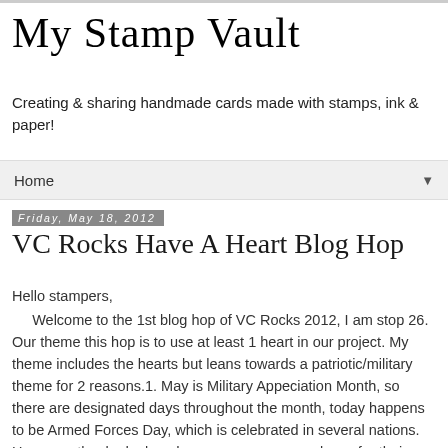My Stamp Vault
Creating & sharing handmade cards made with stamps, ink & paper!
Home ▼
Friday, May 18, 2012
VC Rocks Have A Heart Blog Hop
Hello stampers,
     Welcome to the 1st blog hop of VC Rocks 2012, I am stop 26. Our theme this hop is to use at least 1 heart in our project. My theme includes the hearts but leans towards a patriotic/military theme for 2 reasons.1. May is Military Appeciation Month, so there are designated days throughout the month, today happens to be Armed Forces Day, which is celebrated in several nations. Have you thanked a loved one or someone you know for their service today? 2. In just over